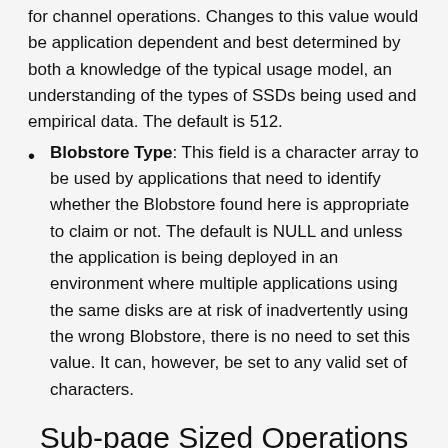for channel operations. Changes to this value would be application dependent and best determined by both a knowledge of the typical usage model, an understanding of the types of SSDs being used and empirical data. The default is 512.
Blobstore Type: This field is a character array to be used by applications that need to identify whether the Blobstore found here is appropriate to claim or not. The default is NULL and unless the application is being deployed in an environment where multiple applications using the same disks are at risk of inadvertently using the wrong Blobstore, there is no need to set this value. It can, however, be set to any valid set of characters.
Sub-page Sized Operations